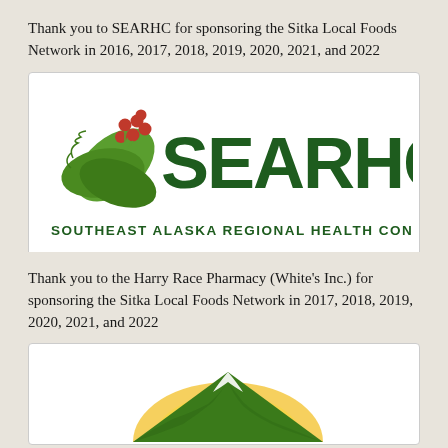Thank you to SEARHC for sponsoring the Sitka Local Foods Network in 2016, 2017, 2018, 2019, 2020, 2021, and 2022
[Figure (logo): SEARHC logo with green leaf/plant design and red berries, text 'SEARHC' in large dark green letters, subtitle 'SOUTHEAST ALASKA REGIONAL HEALTH CONSORTIUM']
Thank you to the Harry Race Pharmacy (White's Inc.) for sponsoring the Sitka Local Foods Network in 2017, 2018, 2019, 2020, 2021, and 2022
[Figure (logo): Harry Race Pharmacy logo with mountain/sun graphic in green and yellow tones]